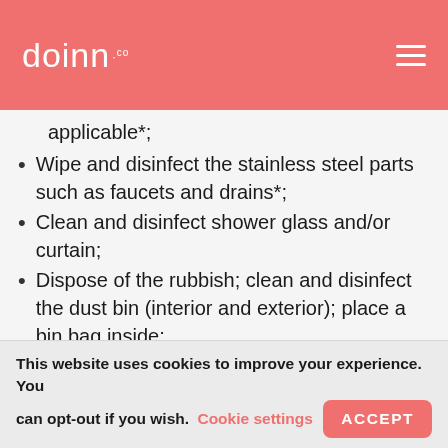doinn .co
applicable*;
Wipe and disinfect the stainless steel parts such as faucets and drains*;
Clean and disinfect shower glass and/or curtain;
Dispose of the rubbish; clean and disinfect the dust bin (interior and exterior); place a bin bag inside;
Wipe the floor and disinfect it; leave to dry.
Leave fresh towels, toilet rolls and, if applicable, toiletries.
This website uses cookies to improve your experience. You can opt-out if you wish. Cookie settings ACCEPT